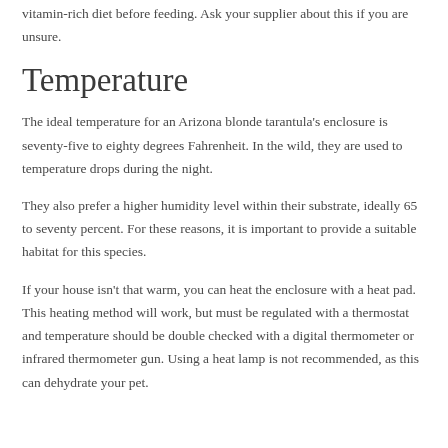vitamin-rich diet before feeding. Ask your supplier about this if you are unsure.
Temperature
The ideal temperature for an Arizona blonde tarantula's enclosure is seventy-five to eighty degrees Fahrenheit. In the wild, they are used to temperature drops during the night.
They also prefer a higher humidity level within their substrate, ideally 65 to seventy percent. For these reasons, it is important to provide a suitable habitat for this species.
If your house isn't that warm, you can heat the enclosure with a heat pad. This heating method will work, but must be regulated with a thermostat and temperature should be double checked with a digital thermometer or infrared thermometer gun. Using a heat lamp is not recommended, as this can dehydrate your pet.